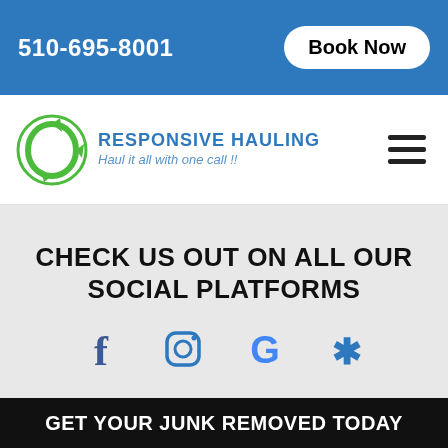510-695-8001
Book Now
[Figure (logo): Responsive Hauling logo — green circular recycling arrows icon with blue text RESPONSIVE HAULING and tagline Haul it all with one call !!]
CHECK US OUT ON ALL OUR SOCIAL PLATFORMS
[Figure (infographic): Four social media icons in a row: Facebook (f), Instagram (camera/square), Google (G), Yelp (fork/star symbol), all in blue tones]
GET YOUR JUNK REMOVED TODAY